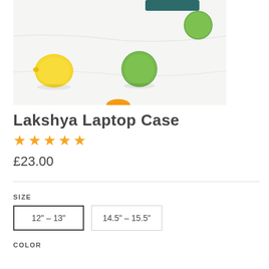[Figure (photo): Product photo of a laptop case shown on a white surface with limes and a yellow citrus fruit scattered around. A dark teal/green object is visible at the top.]
Lakshya Laptop Case
★★★★★
£23.00
SIZE
12" – 13"
14.5" – 15.5"
COLOR